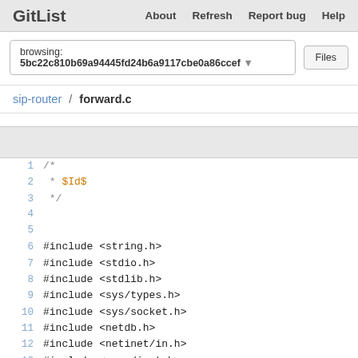GitList   About   Refresh   Report bug   Help
browsing: 5bc22c810b69a94445fd24b6a9117cbe0a86ccef   Files
sip-router / forward.c
[Figure (screenshot): Code viewer toolbar (gray bar)]
1  /*
2   * $Id$
3   */
4
5
6  #include <string.h>
7  #include <stdio.h>
8  #include <stdlib.h>
9  #include <sys/types.h>
10 #include <sys/socket.h>
11 #include <netdb.h>
12 #include <netinet/in.h>
13 #include <arpa/inet.h>
14
15 #include "forward.h"